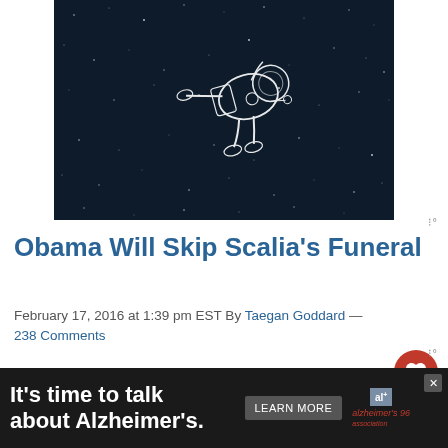[Figure (illustration): Dark navy/black background with white star-like dots (space scene). A white line-art illustration of a person in a spacesuit floating/falling through space.]
Obama Will Skip Scalia’s Funeral
February 17, 2016 at 1:39 pm EST By Taegan Goddard — 238 Comments
President Obama will not attend Supreme Court Justice Antonin Scalia’s funeral on Saturday, Politico reports.
Vice President Joe Biden and his wife Jill Biden will at...
[Figure (infographic): Advertisement banner: 'It’s time to talk about Alzheimer’s.' with a LEARN MORE button and Alzheimer’s Association logo. Dark background with white bold text.]